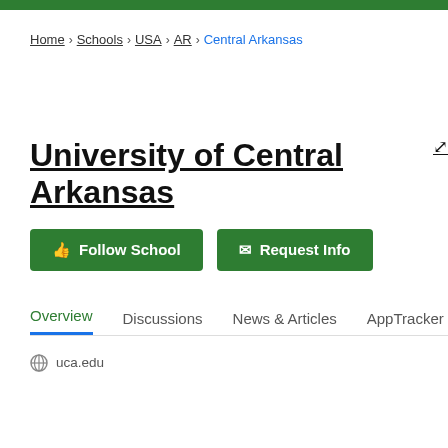Home > Schools > USA > AR > Central Arkansas
University of Central Arkansas
Follow School | Request Info
Overview | Discussions | News & Articles | AppTracker | Pho...
uca.edu